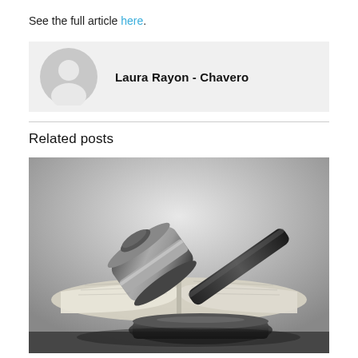See the full article here.
Laura Rayon - Chavero
Related posts
[Figure (photo): Black and white photo of a judge's gavel resting on an open book on a wooden surface]